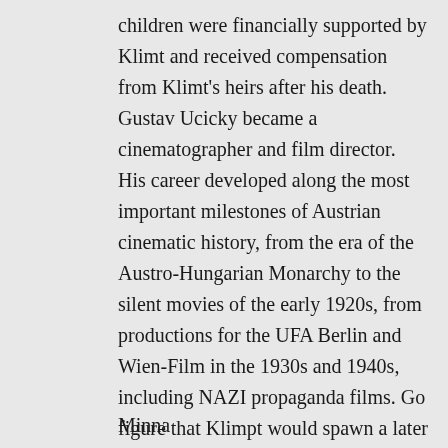children were financially supported by Klimt and received compensation from Klimt's heirs after his death. Gustav Ucicky became a cinematographer and film director. His career developed along the most important milestones of Austrian cinematic history, from the era of the Austro-Hungarian Monarchy to the silent movies of the early 1920s, from productions for the UFA Berlin and Wien-Film in the 1930s and 1940s, including NAZI propaganda films. Go figure that Klimpt would spawn a later Nazi sympathizer.
Minna